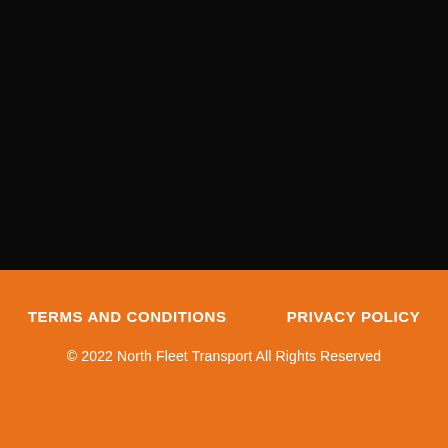[Figure (photo): Black background section occupying the upper portion of the page]
TERMS AND CONDITIONS     PRIVACY POLICY
© 2022 North Fleet Transport All Rights Reserved